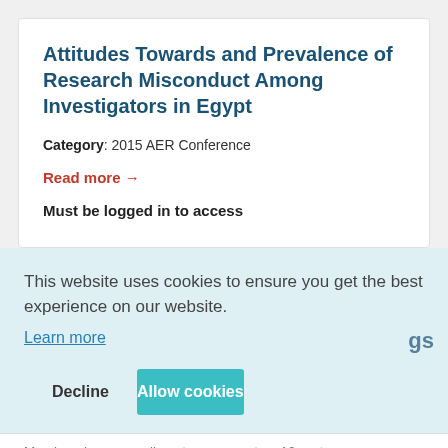Attitudes Towards and Prevalence of Research Misconduct Among Investigators in Egypt
Category: 2015 AER Conference
Read more →
Must be logged in to access
This website uses cookies to ensure you get the best experience on our website.
Learn more
Decline
Allow cookies
Members have complimentary access to a 10-part